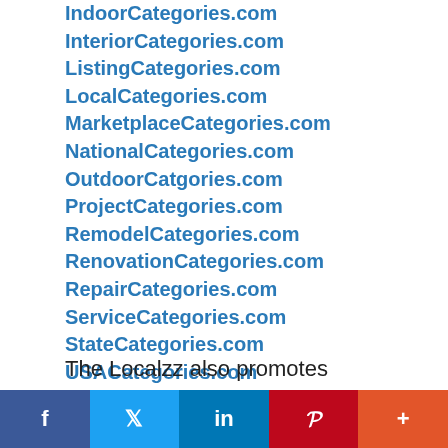IndoorCategories.com
InteriorCategories.com
ListingCategories.com
LocalCategories.com
MarketplaceCategories.com
NationalCategories.com
OutdoorCatgories.com
ProjectCategories.com
RemodelCategories.com
RenovationCategories.com
RepairCategories.com
ServiceCategories.com
StateCategories.com
USACategories.com
YardCategories.com
The Localzz also promotes
f  Twitter  in  P  +